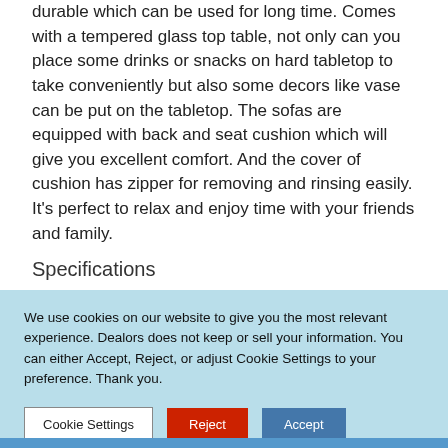durable which can be used for long time. Comes with a tempered glass top table, not only can you place some drinks or snacks on hard tabletop to take conveniently but also some decors like vase can be put on the tabletop. The sofas are equipped with back and seat cushion which will give you excellent comfort. And the cover of cushion has zipper for removing and rinsing easily. It's perfect to relax and enjoy time with your friends and family.
Specifications
We use cookies on our website to give you the most relevant experience. Dealors does not keep or sell your information. You can either Accept, Reject, or adjust Cookie Settings to your preference. Thank you.